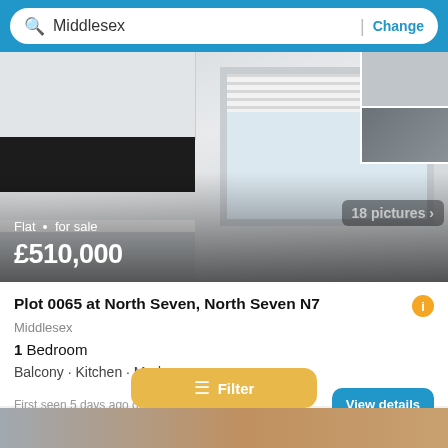Middlesex | Change
[Figure (photo): Kitchen interior photo showing white fitted cabinets, black splashback, window with blinds, wooden flooring. Property listing: Flat for sale £510,000. Shows '18 pictures >' badge. Thumbnail strip on right side.]
Plot 0065 at North Seven, North Seven N7
Middlesex
1 Bedroom
Balcony · Kitchen · Modern
First seen 5 days ago on OnTheMarket.com
View details